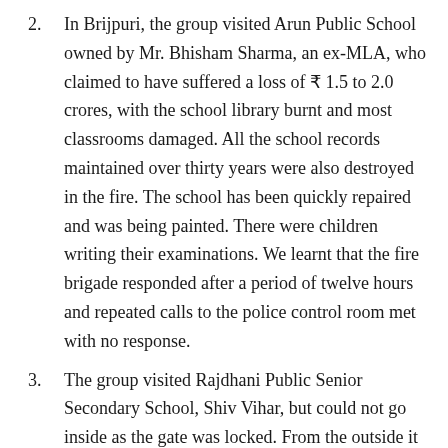In Brijpuri, the group visited Arun Public School owned by Mr. Bhisham Sharma, an ex-MLA, who claimed to have suffered a loss of ₹ 1.5 to 2.0 crores, with the school library burnt and most classrooms damaged. All the school records maintained over thirty years were also destroyed in the fire. The school has been quickly repaired and was being painted. There were children writing their examinations. We learnt that the fire brigade responded after a period of twelve hours and repeated calls to the police control room met with no response.
The group visited Rajdhani Public Senior Secondary School, Shiv Vihar, but could not go inside as the gate was locked. From the outside it looked as if the school was badly damaged and several classrooms were burnt. The owner of the